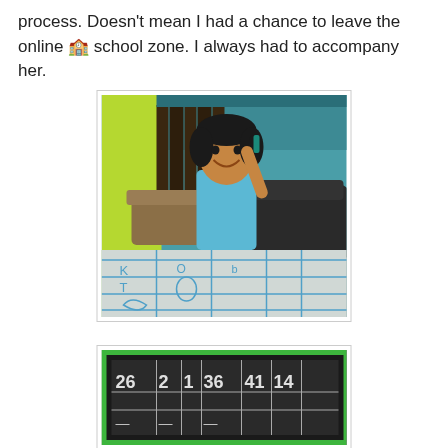process. Doesn't mean I had a chance to leave the online 🏫 school zone. I always had to accompany her.
[Figure (photo): Young girl smiling and raising her hand holding a marker, sitting at a table with a whiteboard/tray that has letters and shapes drawn in blue. Living room background with teal walls and dark furniture.]
[Figure (photo): Close-up of a small blackboard/slate with a green border showing numbers and marks written in chalk: 26, 2, 1, 36, 41, 14 and other chalked content.]